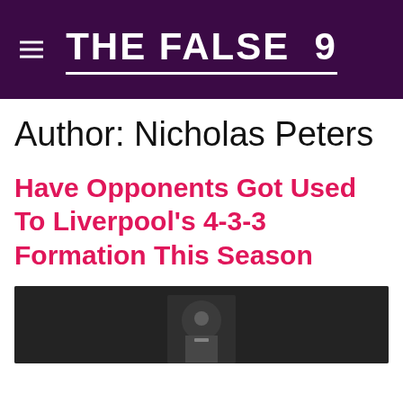THE FALSE 9
Author: Nicholas Peters
Have Opponents Got Used To Liverpool's 4-3-3 Formation This Season
[Figure (photo): Dark background photo showing a football player, partially visible from the waist down, wearing a white kit with a badge.]